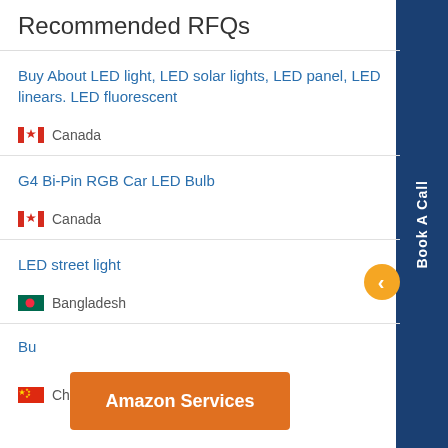Recommended RFQs
Buy About LED light, LED solar lights, LED panel, LED linears. LED fluorescent
Canada
G4 Bi-Pin RGB Car LED Bulb
Canada
LED street light
Bangladesh
Bu...
Amazon Services
China